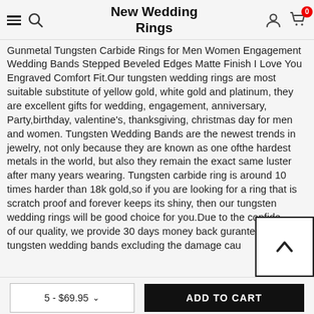New Wedding Rings
Gunmetal Tungsten Carbide Rings for Men Women Engagement Wedding Bands Stepped Beveled Edges Matte Finish I Love You Engraved Comfort Fit.Our tungsten wedding rings are most suitable substitute of yellow gold, white gold and platinum, they are excellent gifts for wedding, engagement, anniversary, Party,birthday, valentine's, thanksgiving, christmas day for men and women. Tungsten Wedding Bands are the newest trends in jewelry, not only because they are known as one ofthe hardest metals in the world, but also they remain the exact same luster after many years wearing. Tungsten carbide ring is around 10 times harder than 18k gold,so if you are looking for a ring that is scratch proof and forever keeps its shiny, then our tungsten wedding rings will be good choice for you.Due to the confidence of our quality, we provide 30 days money back gurantee for our tungsten wedding bands excluding the damage cau
5 - $69.95
ADD TO CART